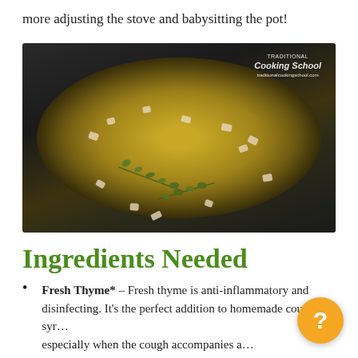more adjusting the stove and babysitting the pot!
[Figure (photo): Overhead view of a dark pot with golden broth, fresh thyme sprigs, and chopped garlic or onion pieces scattered throughout. Watermark reads 'Traditional Cooking School' in upper right corner.]
Ingredients Needed
Fresh Thyme* – Fresh thyme is anti-inflammatory and disinfecting. It's the perfect addition to homemade cough syr… especially when the cough accompanies a…